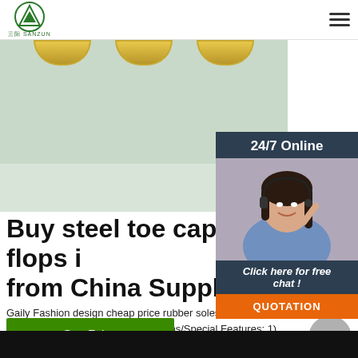SANZUN logo and navigation header
[Figure (photo): Product banner image showing steel toe cap flip flops with gold metallic toe caps on a light green/mint background]
[Figure (photo): 24/7 Online customer service panel with a female agent wearing a headset, 'Click here for free chat!' text, and an orange QUOTATION button]
Buy steel toe cap flip flops i from China Suppliers
Gaily Fashion design cheap price rubber soles c transfer wholesale beach eva flip flop. Key Specifications/Special Features: 1) Description: W 2) Sizes: Women: 36-40# Men:41-46# 3) Upper m 0.65 - 0.99 Pair. ...
[Figure (other): Green 'Get Price' button]
[Figure (other): Gray circular scroll-to-top button with upward chevron arrow]